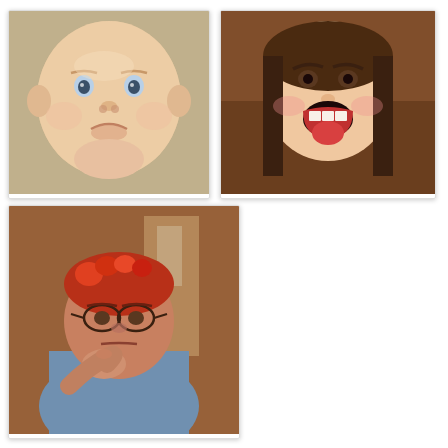[Figure (photo): Photo of a baby with a pouty/grumpy facial expression, close-up face shot with soft background]
[Figure (photo): Photo of a young girl making an angry face with tongue sticking out, close-up against brown background]
[Figure (photo): Photo of a middle-aged woman with red flower headband, looking bored/grumpy, resting chin on hand, indoor background]
Me - Things I hate, wow! I hate death. I hate TV shows and movies where people die. I hate Justin Bieber. I hate when people are mad at me. I hate when it's too hot or too cold. I hate the Hunger games. I hate posts with a lot of sauce. I